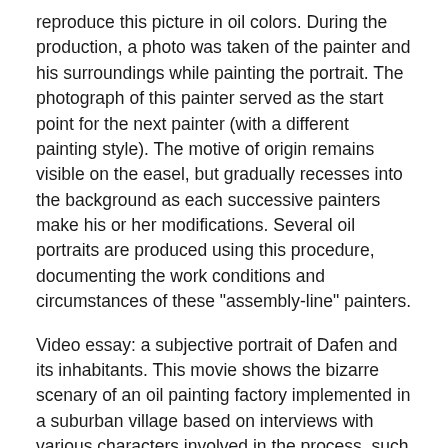reproduce this picture in oil colors. During the production, a photo was taken of the painter and his surroundings while painting the portrait. The photograph of this painter served as the start point for the next painter (with a different painting style). The motive of origin remains visible on the easel, but gradually recesses into the background as each successive painters make his or her modifications. Several oil portraits are produced using this procedure, documenting the work conditions and circumstances of these "assembly-line" painters.
Video essay: a subjective portrait of Dafen and its inhabitants. This movie shows the bizarre scenary of an oil painting factory implemented in a suburban village based on interviews with various characters involved in the process, such as painters, frame makers and agents.
Set up: To provide multiple perspectives of this unique place we arrange the canvases together with a screen on which the film is shown.